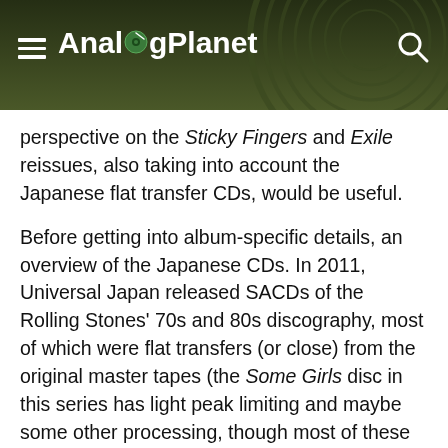AnalogPlanet
perspective on the Sticky Fingers and Exile reissues, also taking into account the Japanese flat transfer CDs, would be useful.
Before getting into album-specific details, an overview of the Japanese CDs. In 2011, Universal Japan released SACDs of the Rolling Stones' 70s and 80s discography, most of which were flat transfers (or close) from the original master tapes (the Some Girls disc in this series has light peak limiting and maybe some other processing, though most of these at least sound unaltered). Mick McKenna and Richard Whittaker did the DSD transfers at FX Copyroom in London, while Masaru